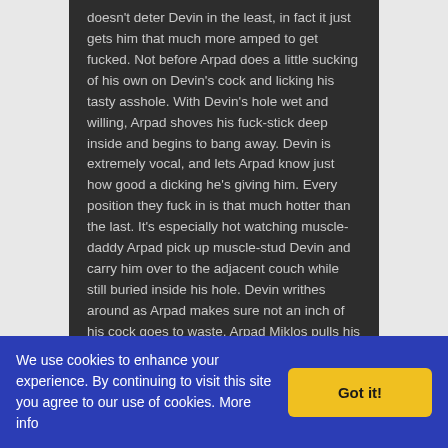doesn't deter Devin in the least, in fact it just gets him that much more amped to get fucked. Not before Arpad does a little sucking of his own on Devin's cock and licking his tasty asshole. With Devin's hole wet and willing, Arpad shoves his fuck-stick deep inside and begins to bang away. Devin is extremely vocal, and lets Arpad know just how good a dicking he's giving him. Every position they fuck in is that much hotter than the last. It's especially hot watching muscle-daddy Arpad pick up muscle-stud Devin and carry him over to the adjacent couch while still buried inside his hole. Devin writhes around as Arpad makes sure not an inch of his cock goes to waste. Arpad Miklos pulls his massive dick out and blows a huge load all over Devin's abs and chest, and on the couch past Devin Draz's head! Devin
We use cookies to enhance your experience. By continuing to visit this site you agree to our use of cookies. More info